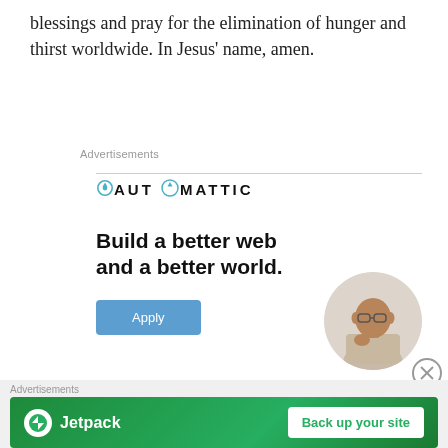blessings and pray for the elimination of hunger and thirst worldwide. In Jesus' name, amen.
Advertisements
[Figure (logo): Automattic logo with wordmark in uppercase letters and a circular O with a dot/arrow icon]
Build a better web and a better world.
[Figure (photo): Circular cropped photo of a man in a beige shirt looking upward thoughtfully with hand on chin]
[Figure (infographic): Automattic job ad with Apply button]
Advertisements
[Figure (infographic): Jetpack green banner advertisement with logo and Back up your site button]